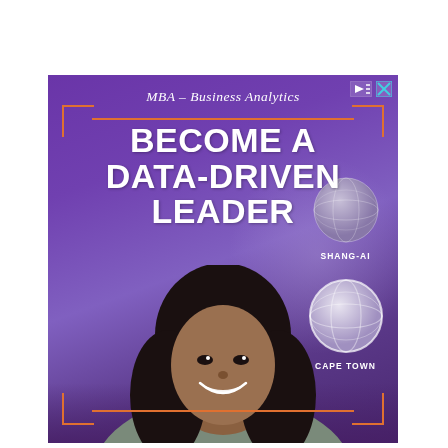[Figure (illustration): Advertisement banner for MBA Business Analytics program featuring a smiling Black woman in a gray top against a purple background with globe icons labeled SHANG-AI and CAPE TOWN, orange bracket decorations, text reading MBA - Business Analytics and BECOME A DATA-DRIVEN LEADER]